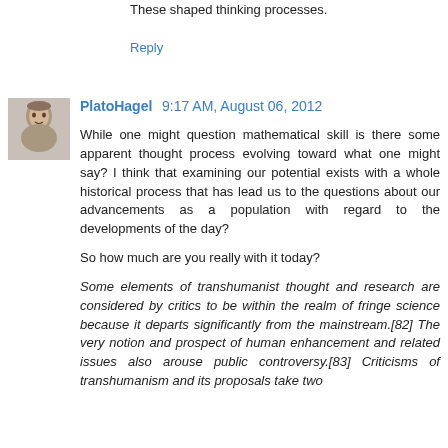demonstrated by the Clay Institute.
These shaped thinking processes.
Reply
PlatoHagel  9:17 AM, August 06, 2012
While one might question mathematical skill is there some apparent thought process evolving toward what one might say? I think that examining our potential exists with a whole historical process that has lead us to the questions about our advancements as a population with regard to the developments of the day?
So how much are you really with it today?
Some elements of transhumanist thought and research are considered by critics to be within the realm of fringe science because it departs significantly from the mainstream.[82] The very notion and prospect of human enhancement and related issues also arouse public controversy.[83] Criticisms of transhumanism and its proposals take two